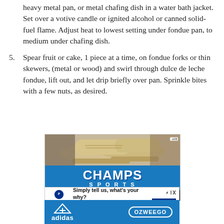heavy metal pan, or metal chafing dish in a water bath jacket. Set over a votive candle or ignited alcohol or canned solid-fuel flame. Adjust heat to lowest setting under fondue pan, to medium under chafing dish.
5. Spear fruit or cake, 1 piece at a time, on fondue forks or thin skewers, (metal or wood) and swirl through dulce de leche fondue, lift out, and let drip briefly over pan. Sprinkle bites with a few nuts, as desired.
[Figure (photo): Champs Sports advertisement showing tan/beige sneakers on top and Champs Sports logo with SHOP NOW button below, on blue background]
[Figure (photo): PNC Private Bank advertisement: Simply tell us, what's your why? with LEARN MORE button and fine print]
[Figure (photo): Adidas Ozweego advertisement with adidas logo on left and OZWEEGO badge on right, blue background]